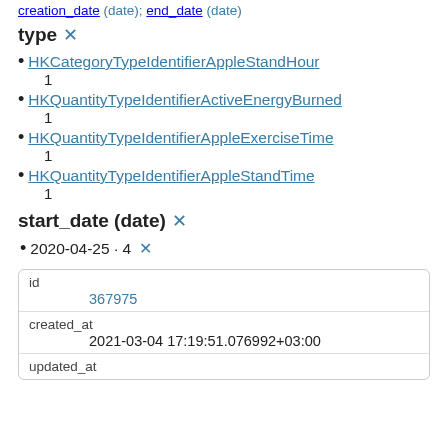creation_date (date); end_date (date)
type ✕
HKCategoryTypeIdentifierAppleStandHour
1
HKQuantityTypeIdentifierActiveEnergyBurned
1
HKQuantityTypeIdentifierAppleExerciseTime
1
HKQuantityTypeIdentifierAppleStandTime
1
start_date (date) ✕
2020-04-25 · 4 ✕
| field | value |
| --- | --- |
| id | 367975 |
| created_at | 2021-03-04 17:19:51.076992+03:00 |
| updated_at |  |